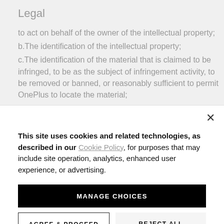Legal
to act on behalf of the owner of the intellectual property; b.The identification of the intellectual property; c.The identification of the material that is claimed to be infringed, to be as the subject of infringement activity, to be removed or banned, or reasonably sufficient to permit OnePlus to locate the material; d.Contact information for the notifying party, such as the
This site uses cookies and related technologies, as described in our Cookie Policy, for purposes that may include site operation, analytics, enhanced user experience, or advertising.
MANAGE CHOICES
AGREE & PROCEED
REJECT ALL